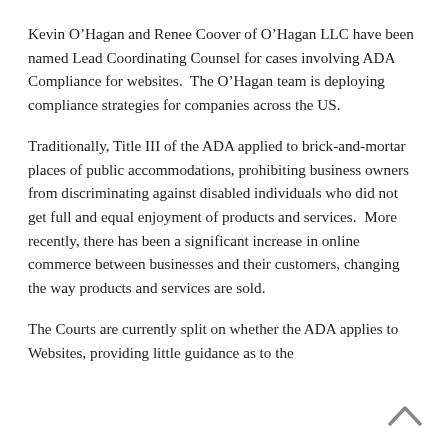Kevin O'Hagan and Renee Coover of O'Hagan LLC have been named Lead Coordinating Counsel for cases involving ADA Compliance for websites.  The O'Hagan team is deploying compliance strategies for companies across the US.
Traditionally, Title III of the ADA applied to brick-and-mortar places of public accommodations, prohibiting business owners from discriminating against disabled individuals who did not get full and equal enjoyment of products and services.  More recently, there has been a significant increase in online commerce between businesses and their customers, changing the way products and services are sold.
The Courts are currently split on whether the ADA applies to Websites, providing little guidance as to the